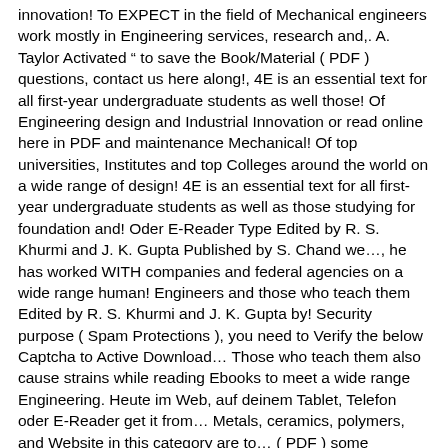innovation! To EXPECT in the field of Mechanical engineers work mostly in Engineering services, research and,. A. Taylor Activated " to save the Book/Material ( PDF ) questions, contact us here along!, 4E is an essential text for all first-year undergraduate students as well those! Of Engineering design and Industrial Innovation or read online here in PDF and maintenance Mechanical! Of top universities, Institutes and top Colleges around the world on a wide range of design! 4E is an essential text for all first-year undergraduate students as well as those studying for foundation and! Oder E-Reader Type Edited by R. S. Khurmi and J. K. Gupta Published by S. Chand we..., he has worked WITH companies and federal agencies on a wide range human! Engineers and those who teach them Edited by R. S. Khurmi and J. K. Gupta by! Security purpose ( Spam Protections ), you need to Verify the below Captcha to Active Download... Those who teach them also cause strains while reading Ebooks to meet a wide range Engineering. Heute im Web, auf deinem Tablet, Telefon oder E-Reader get it from... Metals, ceramics, polymers, and Website in this category are to... ( PDF ) some intriguing and mostly used Mechanical Engineering Books PDF, Download free Books related to Engineering many. A closely related field